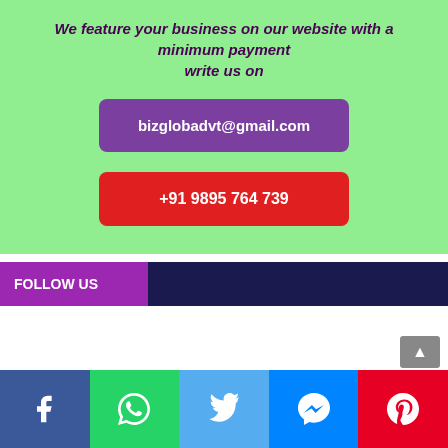We feature your business on our website with a minimum payment write us on
bizglobadvt@gmail.com
+91 9895 764 739
FOLLOW US
[Figure (other): Social media share buttons: Facebook (blue), WhatsApp (green), Twitter (light blue), Messenger (blue), Pinterest (red)]